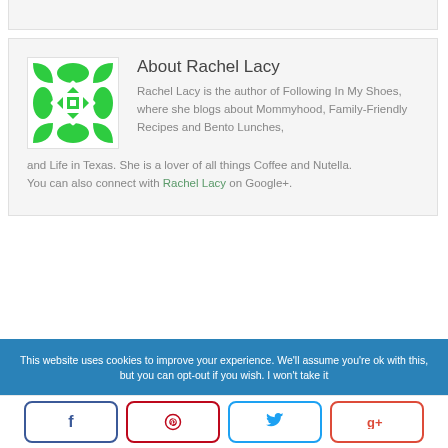[Figure (logo): Green decorative geometric pattern logo for Rachel Lacy / Following In My Shoes blog]
About Rachel Lacy
Rachel Lacy is the author of Following In My Shoes, where she blogs about Mommyhood, Family-Friendly Recipes and Bento Lunches, and Life in Texas. She is a lover of all things Coffee and Nutella.
You can also connect with Rachel Lacy on Google+.
This website uses cookies to improve your experience. We'll assume you're ok with this, but you can opt-out if you wish. I won't take it